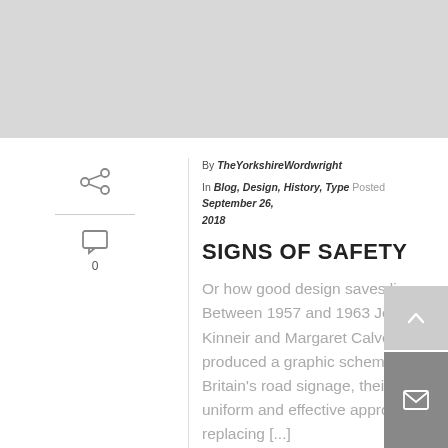[Figure (photo): Gray placeholder hero image at the top of the page]
By TheYorkshireWordwright
In Blog, Design, History, Type Posted September 26, 2018
SIGNS OF SAFETY
Or how good design saves lives Between 1957 and 1963 Jock Kinneir and Margaret Calvert produced a graphic scheme for Britain's road signage, their uniform and effective approach replacing [...]